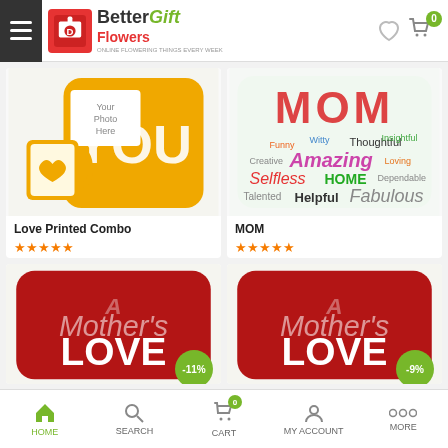Better Gift Flowers — header navigation with hamburger menu, logo, heart icon, cart (0)
[Figure (photo): Product image: Love Printed Combo — yellow cushion with YOU text and personalized mug with heart]
Love Printed Combo
★★★★★
₹ 1,099.00  ₹ 999.00
[Figure (photo): Product image: MOM — colorful word art cushion with words like Amazing, Loving, Helpful, Fabulous, Selfless, HOME]
MOM
★★★★★
₹ 449.00  ₹ 399.00
[Figure (photo): Product image: Red cushion with Mother's LOVE text, -11% discount badge]
[Figure (photo): Product image: Red cushion with Mother's LOVE text, -9% discount badge]
HOME | SEARCH | CART (0) | MY ACCOUNT | MORE